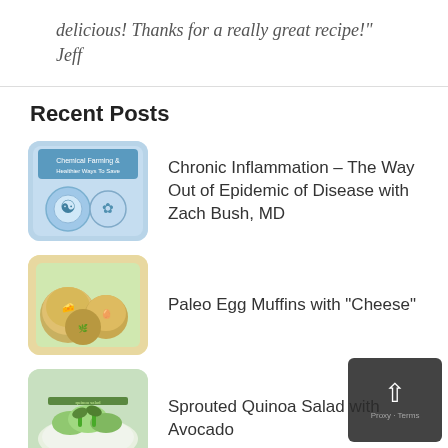delicious! Thanks for a really great recipe!" Jeff
Recent Posts
Chronic Inflammation – The Way Out of Epidemic of Disease with Zach Bush, MD
Paleo Egg Muffins with "Cheese"
Sprouted Quinoa Salad with Avocado
Cancer Maps and Glyphosate in the USA –